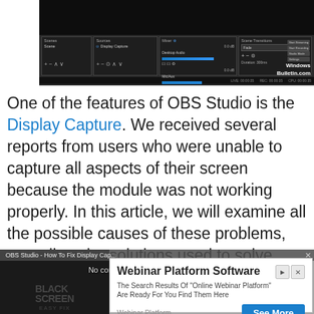[Figure (screenshot): OBS Studio interface screenshot showing the main window with scenes, sources (Display Capture), mixer, and scene transitions panels. WindowsBulletin.com watermark visible.]
One of the features of OBS Studio is the Display Capture. We received several reports from users who were unable to capture all aspects of their screen because the module was not working properly. In this article, we will examine all the possible causes of these problems, as well as the solutions used to solve them.
[Figure (screenshot): OBS Studio - How To Fix Display Cap... video overlay with 'No compatible source was found for this media.' message, overlapping the article text.]
[Figure (screenshot): Advertisement: Webinar Platform Software. 'The Search Results Of Online Webinar Platform Are Ready For You Find Them Here'. See More button. Webinar Platform domain shown.]